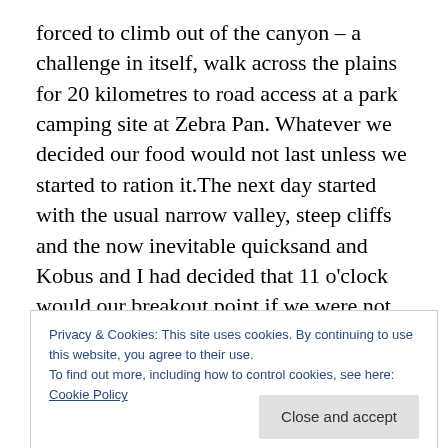forced to climb out of the canyon – a challenge in itself, walk across the plains for 20 kilometres to road access at a park camping site at Zebra Pan. Whatever we decided our food would not last unless we started to ration it.The next day started with the usual narrow valley, steep cliffs and the now inevitable quicksand and Kobus and I had decided that 11 o'clock would our breakout point if we were not able to pick up hour speed but after an hour or so we got the break we needed as the valley opened up – the banks became visible and we were able to stretch our legs. The deadline passed with hearing a comment from
Privacy & Cookies: This site uses cookies. By continuing to use this website, you agree to their use.
To find out more, including how to control cookies, see here: Cookie Policy
significantly and as the day went on the widening became